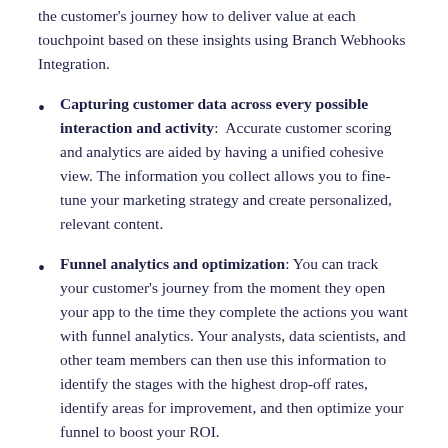the customer's journey how to deliver value at each touchpoint based on these insights using Branch Webhooks Integration.
Capturing customer data across every possible interaction and activity: Accurate customer scoring and analytics are aided by having a unified cohesive view. The information you collect allows you to fine-tune your marketing strategy and create personalized, relevant content.
Funnel analytics and optimization: You can track your customer's journey from the moment they open your app to the time they complete the actions you want with funnel analytics. Your analysts, data scientists, and other team members can then use this information to identify the stages with the highest drop-off rates, identify areas for improvement, and then optimize your funnel to boost your ROI.
Generating retention and cohort reports: These reports